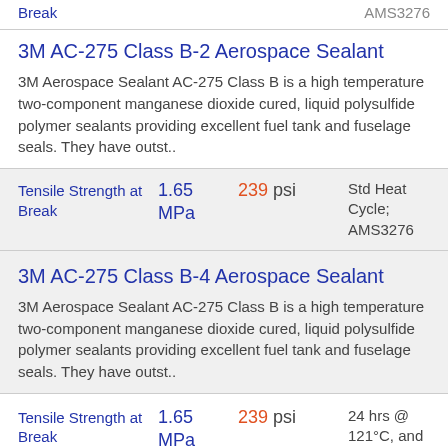Break   AMS3276
3M AC-275 Class B-2 Aerospace Sealant
3M Aerospace Sealant AC-275 Class B is a high temperature two-component manganese dioxide cured, liquid polysulfide polymer sealants providing excellent fuel tank and fuselage seals. They have outst..
| Property | Value (MPa) | Value (psi) | Condition |
| --- | --- | --- | --- |
| Tensile Strength at Break | 1.65 MPa | 239 psi | Std Heat Cycle; AMS3276 |
3M AC-275 Class B-4 Aerospace Sealant
3M Aerospace Sealant AC-275 Class B is a high temperature two-component manganese dioxide cured, liquid polysulfide polymer sealants providing excellent fuel tank and fuselage seals. They have outst..
| Property | Value (MPa) | Value (psi) | Condition |
| --- | --- | --- | --- |
| Tensile Strength at Break | 1.65 MPa | 239 psi | 24 hrs @ 121°C, and JRF-7 days @ 60°C |